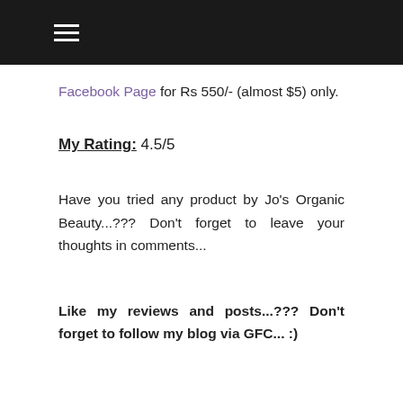☰
Facebook Page for Rs 550/- (almost $5) only.
My Rating: 4.5/5
Have you tried any product by Jo's Organic Beauty...??? Don't forget to leave your thoughts in comments...
Like my reviews and posts...??? Don't forget to follow my blog via GFC... :)